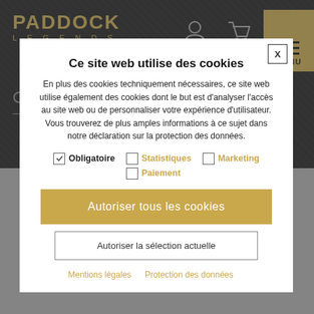[Figure (screenshot): Paddock Legends website header with dark textured background, gold logo, user/cart icons, hamburger menu, and search bar]
Ce site web utilise des cookies
En plus des cookies techniquement nécessaires, ce site web utilise également des cookies dont le but est d'analyser l'accès au site web ou de personnaliser votre expérience d'utilisateur. Vous trouverez de plus amples informations à ce sujet dans notre déclaration sur la protection des données.
Obligatoire  Statistiques  Paiement  Marketing
Autoriser tous les cookies
Autoriser la sélection actuelle
Mentions légales   Protection des données